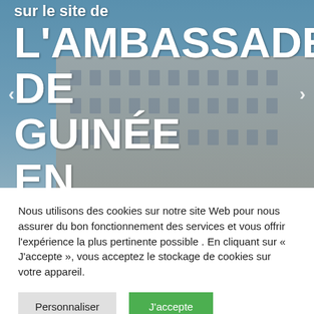[Figure (photo): Hero image of a grand classical European building (palace/embassy facade) with blue sky, overlaid with large white bold text reading 'L'AMBASSADE DE GUINÉE EN' and navigation arrows on left and right sides.]
Nous utilisons des cookies sur notre site Web pour nous assurer du bon fonctionnement des services et vous offrir l'expérience la plus pertinente possible . En cliquant sur « J'accepte », vous acceptez le stockage de cookies sur votre appareil.
Personnaliser
J'accepte